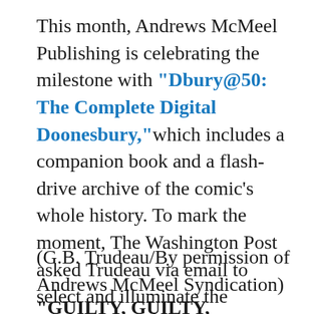This month, Andrews McMeel Publishing is celebrating the milestone with "Dbury@50: The Complete Digital Doonesbury," which includes a companion book and a flash-drive archive of the comic's whole history. To mark the moment, The Washington Post asked Trudeau via email to select and illuminate the 10 "Doonesbury" strips that have proved defining and enduringly meaningful to him.
(G.B. Trudeau/By permission of Andrews McMeel Syndication)
"GUILTY, GUILTY, GUILTY"